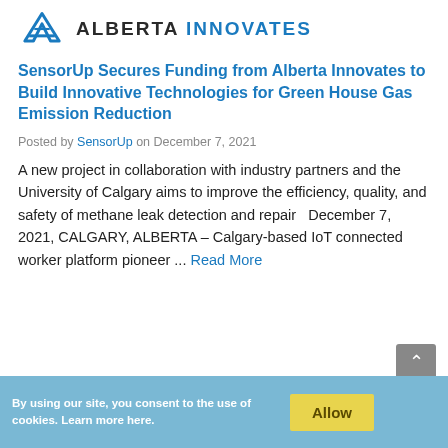ALBERTA INNOVATES
SensorUp Secures Funding from Alberta Innovates to Build Innovative Technologies for Green House Gas Emission Reduction
Posted by SensorUp on December 7, 2021
A new project in collaboration with industry partners and the University of Calgary aims to improve the efficiency, quality, and safety of methane leak detection and repair   December 7, 2021, CALGARY, ALBERTA – Calgary-based IoT connected worker platform pioneer ... Read More